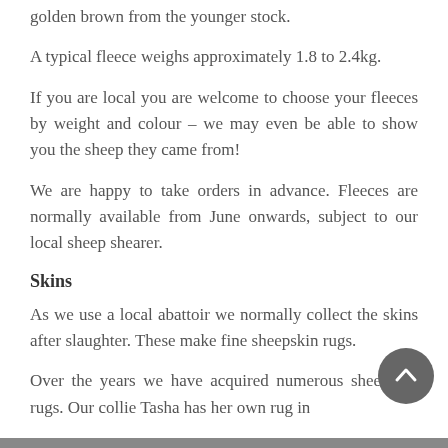golden brown from the younger stock.
A typical fleece weighs approximately 1.8 to 2.4kg.
If you are local you are welcome to choose your fleeces by weight and colour – we may even be able to show you the sheep they came from!
We are happy to take orders in advance. Fleeces are normally available from June onwards, subject to our local sheep shearer.
Skins
As we use a local abattoir we normally collect the skins after slaughter. These make fine sheepskin rugs.
Over the years we have acquired numerous sheepskin rugs. Our collie Tasha has her own rug in